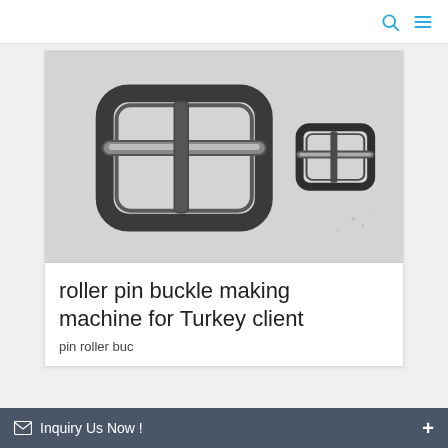[Figure (photo): Two metal roller pin buckles on a white surface. One large buckle on the left and one smaller buckle on the right.]
roller pin buckle making machine for Turkey client
pin roller buc...
Inquiry Us Now !